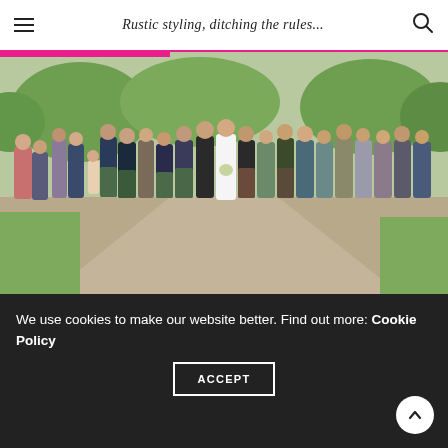Rustic styling, ditching the rules...
[Figure (photo): Large group wedding photo showing approximately 30 people including the bride and groom posing on a gravel path outdoors. Several guests are wearing Scottish kilts. The bride is in a white dress holding a bouquet, positioned in the center of the group. Green trees are visible in the background.]
We use cookies to make our website better. Find out more: Cookie Policy
ACCEPT